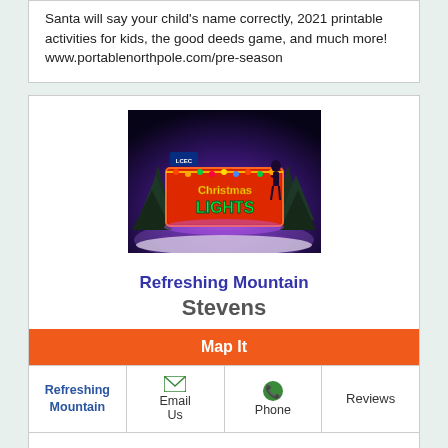Santa will say your child's name correctly, 2021 printable activities for kids, the good deeds game, and much more! www.portablenorthpole.com/pre-season
[Figure (photo): Christmas lights display sign reading 'Christmas Lights' with colorful neon lights against a snowy night scene with trees]
Refreshing Mountain
Stevens
Map It
| Refreshing Mountain | Email Us | Phone | Reviews |
| --- | --- | --- | --- |
Experience hundreds of thousands of Christmas Lights like never before! With something for all ages, choose from a variety of different ways to view the lights from walking around, viewing from an observation deck, driving thru' or